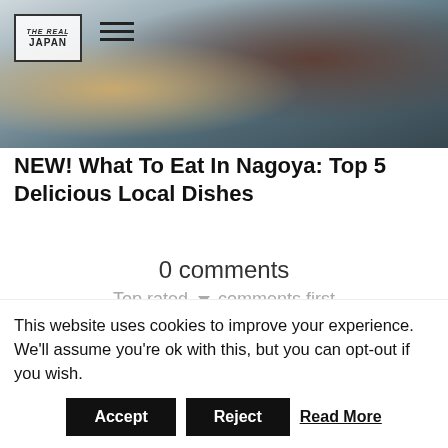[Figure (photo): Hero image of Japanese food dishes on a table, with The Real Japan website logo and hamburger menu visible in top-left corner]
NEW! What To Eat In Nagoya: Top 5 Delicious Local Dishes
0 comments
Top rated ▼  comments first
[Figure (illustration): User/person icon in a light grey circle]
This website uses cookies to improve your experience. We'll assume you're ok with this, but you can opt-out if you wish.
Accept  Reject  Read More